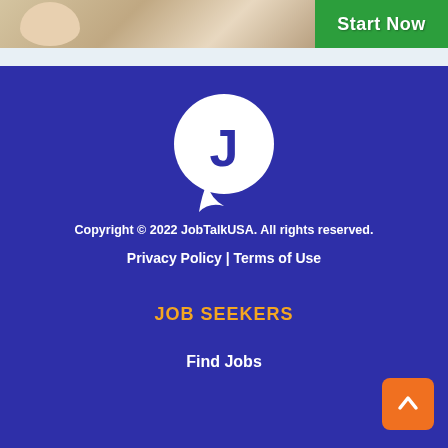[Figure (photo): Partial photo of a person at top left, cut off at bottom]
[Figure (illustration): Green 'Start Now' button/banner at top right]
[Figure (logo): JobTalkUSA logo: white circular speech bubble with dark blue letter J inside, on dark blue background]
Copyright © 2022 JobTalkUSA. All rights reserved.
Privacy Policy | Terms of Use
JOB SEEKERS
Find Jobs
[Figure (illustration): Orange rounded square back-to-top arrow button at bottom right]